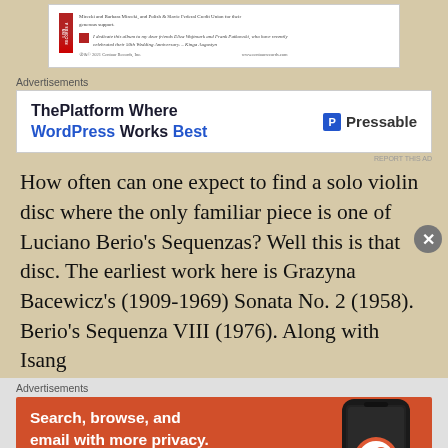[Figure (screenshot): Album liner notes card showing dedication text and copyright information]
Advertisements
[Figure (screenshot): Advertisement banner: ThePlatform Where WordPress Works Best - Pressable]
How often can one expect to find a solo violin disc where the only familiar piece is one of Luciano Berio's Sequenzas? Well this is that disc. The earliest work here is Grazyna Bacewicz's (1909-1969) Sonata No. 2 (1958). Berio's Sequenza VIII (1976). Along with Isang
Advertisements
[Figure (screenshot): DuckDuckGo advertisement: Search, browse, and email with more privacy. All in One Free App.]